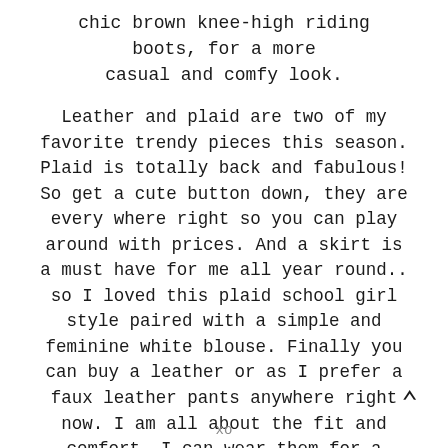chic brown knee-high riding boots, for a more casual and comfy look.
Leather and plaid are two of my favorite trendy pieces this season. Plaid is totally back and fabulous! So get a cute button down, they are every where right so you can play around with prices. And a skirt is a must have for me all year round.. so I loved this plaid school girl style paired with a simple and feminine white blouse. Finally you can buy a leather or as I prefer a faux leather pants anywhere right now. I am all about the fit and comfort. I can wear them for a night out in the town or simple with a knit sweater for a mommy chic look!
xo